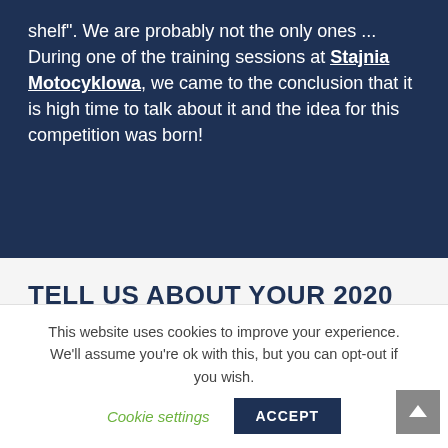shelf". We are probably not the only ones ... During one of the training sessions at Stajnia Motocyklowa, we came to the conclusion that it is high time to talk about it and the idea for this competition was born!
TELL US ABOUT YOUR 2020 MOTORCYCLE TRIP THAT ...
This website uses cookies to improve your experience. We'll assume you're ok with this, but you can opt-out if you wish. Cookie settings ACCEPT